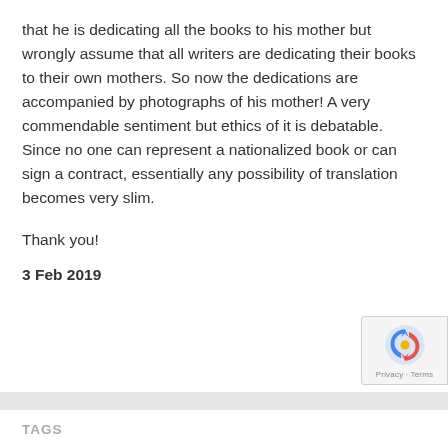that he is dedicating all the books to his mother but wrongly assume that all writers are dedicating their books to their own mothers. So now the dedications are accompanied by photographs of his mother! A very commendable sentiment but ethics of it is debatable. Since no one can represent a nationalized book or can sign a contract, essentially any possibility of translation becomes very slim.
Thank you!
3 Feb 2019
TAGS